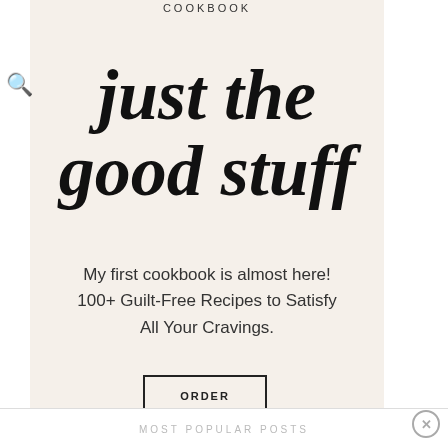COOKBOOK
just the good stuff
My first cookbook is almost here! 100+ Guilt-Free Recipes to Satisfy All Your Cravings.
ORDER
MOST POPULAR POSTS